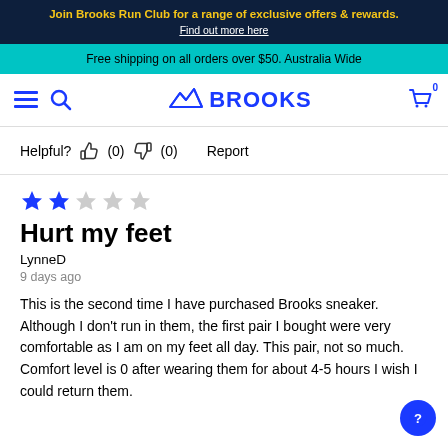Join Brooks Run Club for a range of exclusive offers & rewards. Find out more here
Free shipping on all orders over $50. Australia Wide
[Figure (logo): Brooks running logo with navigation icons (hamburger menu, search, cart)]
Helpful? (0) (0) Report
[Figure (other): 2 out of 5 stars rating]
Hurt my feet
LynneD
9 days ago
This is the second time I have purchased Brooks sneaker. Although I don't run in them, the first pair I bought were very comfortable as I am on my feet all day. This pair, not so much. Comfort level is 0 after wearing them for about 4-5 hours I wish I could return them.